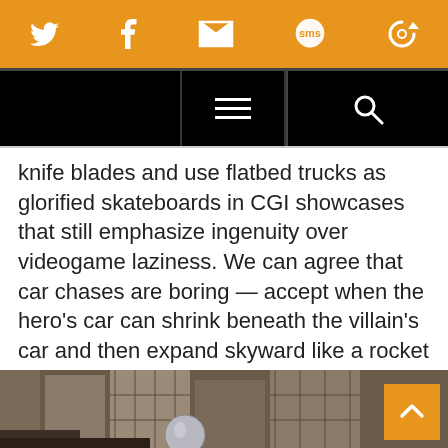Social share bar with Twitter, Facebook, Email, SMS, and circular arrow icons
Navigation bar with hamburger menu and search icon
knife blades and use flatbed trucks as glorified skateboards in CGI showcases that still emphasize ingenuity over videogame laziness. We can agree that car chases are boring — accept when the hero's car can shrink beneath the villain's car and then expand skyward like a rocket launcher! Peyton uses objects and critters of all shapes and sizes to keep things fun.
[Figure (photo): Bottom of page shows a partial photograph of a building exterior with what appears to be a sculpture in the foreground]